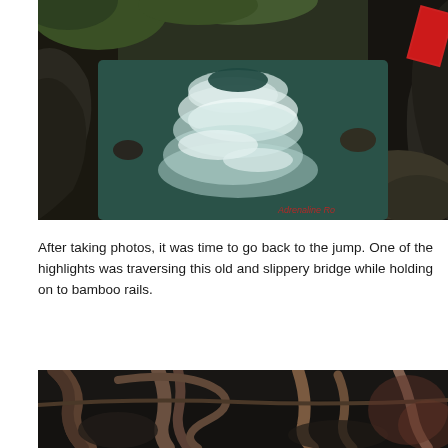[Figure (photo): A river rushing through a narrow rocky gorge with dark canyon walls on either side, white water rapids visible, lush green vegetation on top of the rocks. A red sign partially visible in the upper right corner reading 'Adrenaline Ro...' with a watermark text at bottom right.]
After taking photos, it was time to go back to the jump. One of the highlights was traversing this old and slippery bridge while holding on to bamboo rails.
[Figure (photo): Bottom portion of a photo showing what appears to be an old rope or vine bridge structure in a dark rocky setting with twisted vines or roots visible.]